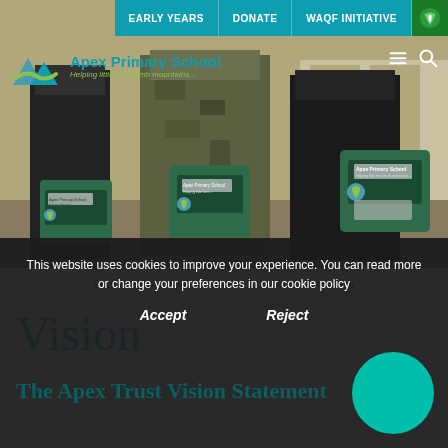EARLY YEARS | DONATE | WAQF INITIATIVE
[Figure (photo): Three students wearing dark coats and carrying green Apex Primary School satchel bags, photographed outdoors.]
Apex Primary School — Helping little feet climb mountains...
YOU ARE HERE: PRIMARY SCHOOL | ABOUT US | VISION
Vision
This website uses cookies to improve your experience. You can read more or change your preferences in our cookie policy
Accept   Reject
The Apex Trust Vision Statement